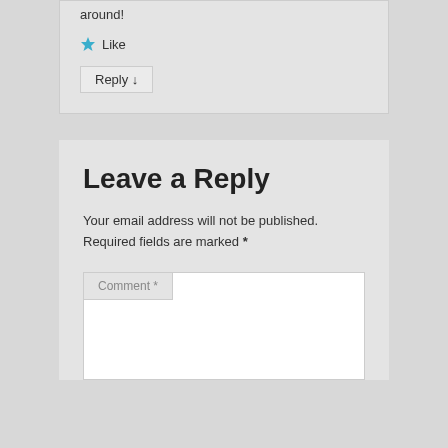around!
★ Like
Reply ↓
Leave a Reply
Your email address will not be published. Required fields are marked *
Comment *